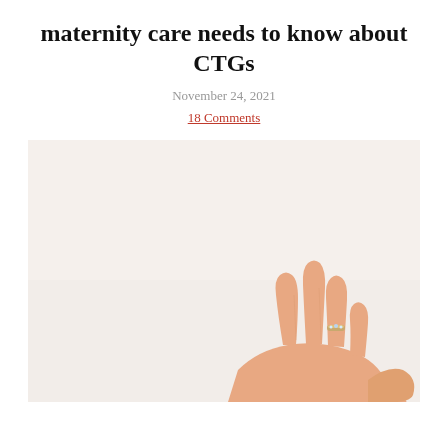maternity care needs to know about CTGs
November 24, 2021
18 Comments
[Figure (photo): A woman's hand with a ring raised against a light beige/white background]